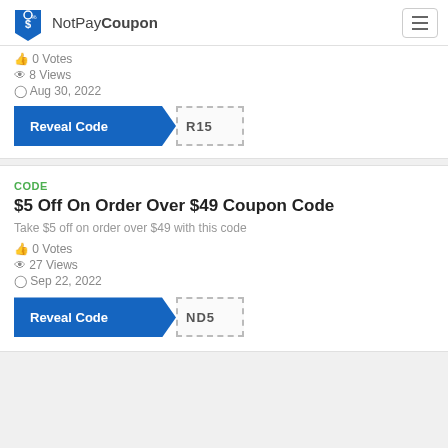NotPayCoupon
0 Votes
8 Views
Aug 30, 2022
[Figure (other): Reveal Code button with code stub R15]
CODE
$5 Off On Order Over $49 Coupon Code
Take $5 off on order over $49 with this code
0 Votes
27 Views
Sep 22, 2022
[Figure (other): Reveal Code button with code stub ND5]